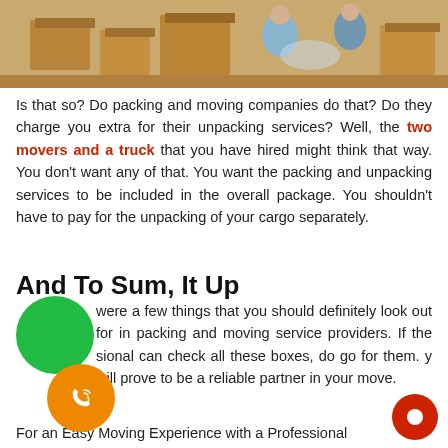[Figure (photo): Photo of people packing cardboard boxes, moving scene with brown boxes and people in background]
Is that so? Do packing and moving companies do that? Do they charge you extra for their unpacking services? Well, the two movers and a truck that you have hired might think that way. You don't want any of that. You want the packing and unpacking services to be included in the overall package. You shouldn't have to pay for the unpacking of your cargo separately.
And To Sum, It Up
[Figure (illustration): Green circle icon (chat/notification button) and orange circle with phone icon overlay]
were a few things that you should definitely look out for in packing and moving service providers. If the sional can check all these boxes, do go for them. y will prove to be a reliable partner in your move.
For an Easy Moving Experience with a Professional